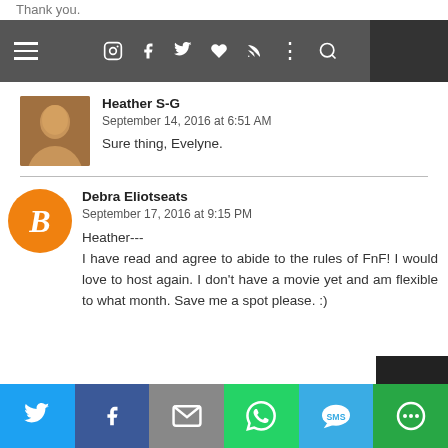Thank you.
Heather S-G
September 14, 2016 at 6:51 AM
Sure thing, Evelyne.
Debra Eliotseats
September 17, 2016 at 9:15 PM
Heather---
I have read and agree to abide to the rules of FnF! I would love to host again. I don't have a movie yet and am flexible to what month. Save me a spot please. :)